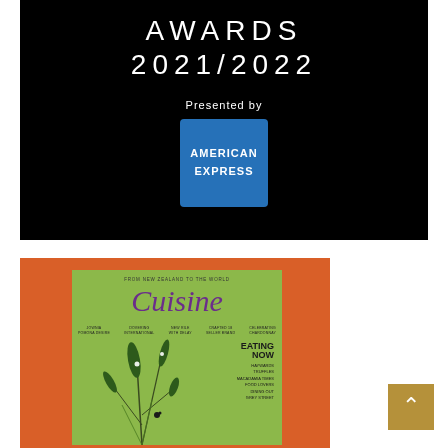[Figure (logo): Awards 2021/2022 presented by American Express logo on black background]
[Figure (photo): Cuisine magazine cover on orange background with green cover showing plant illustration and text]